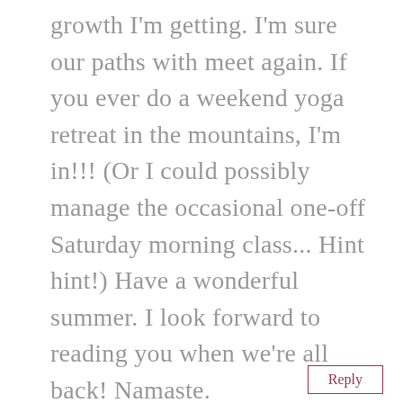growth I'm getting. I'm sure our paths with meet again. If you ever do a weekend yoga retreat in the mountains, I'm in!!! (Or I could possibly manage the occasional one-off Saturday morning class... Hint hint!) Have a wonderful summer. I look forward to reading you when we're all back! Namaste.
Reply